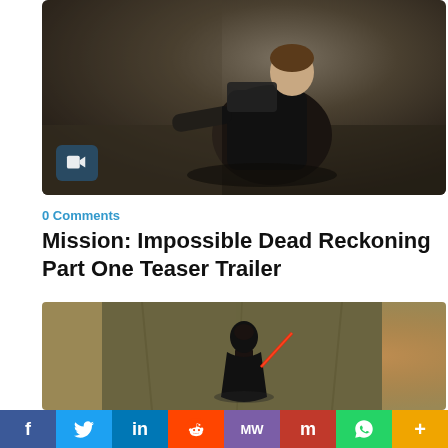[Figure (photo): Action scene showing a person in black tactical gear crouching in a dark industrial environment, looking toward camera]
0 Comments
Mission: Impossible Dead Reckoning Part One Teaser Trailer
[Figure (photo): Close-up of a t-shirt showing a Star Wars Darth Vader graphic with a red lightsaber against a misty background]
f  Twitter  in  Reddit  MW  m  WhatsApp  +